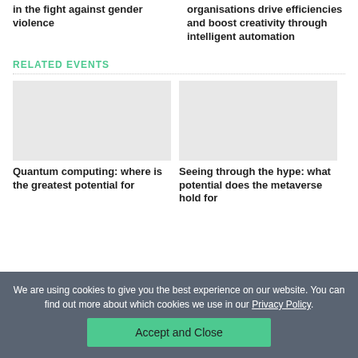in the fight against gender violence
organisations drive efficiencies and boost creativity through intelligent automation
RELATED EVENTS
[Figure (photo): Placeholder image for Quantum computing event card]
Quantum computing: where is the greatest potential for
[Figure (photo): Placeholder image for metaverse event card]
Seeing through the hype: what potential does the metaverse hold for
We are using cookies to give you the best experience on our website. You can find out more about which cookies we use in our Privacy Policy.
Accept and Close